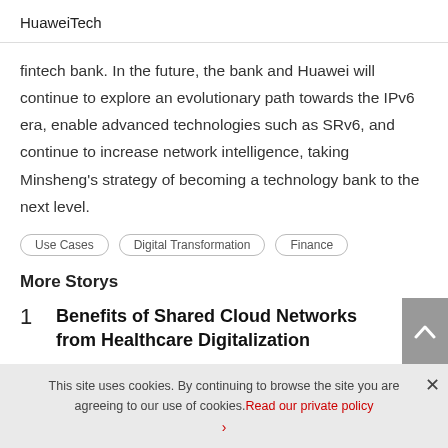HuaweiTech
fintech bank. In the future, the bank and Huawei will continue to explore an evolutionary path towards the IPv6 era, enable advanced technologies such as SRv6, and continue to increase network intelligence, taking Minsheng's strategy of becoming a technology bank to the next level.
Use Cases
Digital Transformation
Finance
More Storys
1  Benefits of Shared Cloud Networks from Healthcare Digitalization
This site uses cookies. By continuing to browse the site you are agreeing to our use of cookies. Read our private policy ›